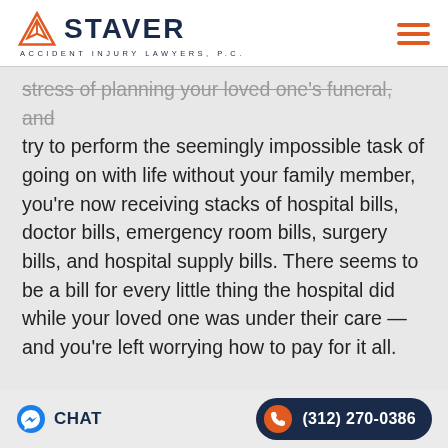STAVER ACCIDENT INJURY LAWYERS, P.C.
stress of planning your loved one's funeral, and try to perform the seemingly impossible task of going on with life without your family member, you're now receiving stacks of hospital bills, doctor bills, emergency room bills, surgery bills, and hospital supply bills. There seems to be a bill for every little thing the hospital did while your loved one was under their care — and you're left worrying how to pay for it all.
CHAT  (312) 270-0386